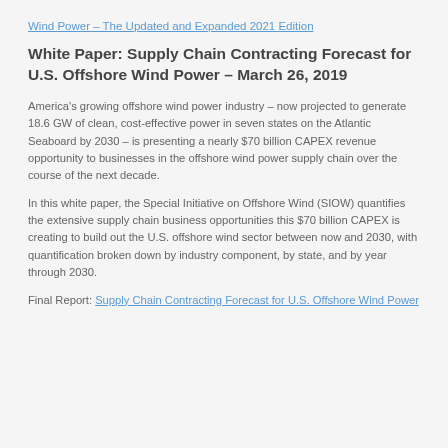Wind Power – The Updated and Expanded 2021 Edition
White Paper: Supply Chain Contracting Forecast for U.S. Offshore Wind Power – March 26, 2019
America's growing offshore wind power industry – now projected to generate 18.6 GW of clean, cost-effective power in seven states on the Atlantic Seaboard by 2030 – is presenting a nearly $70 billion CAPEX revenue opportunity to businesses in the offshore wind power supply chain over the course of the next decade.
In this white paper, the Special Initiative on Offshore Wind (SIOW) quantifies the extensive supply chain business opportunities this $70 billion CAPEX is creating to build out the U.S. offshore wind sector between now and 2030, with quantification broken down by industry component, by state, and by year through 2030.
Final Report: Supply Chain Contracting Forecast for U.S. Offshore Wind Power